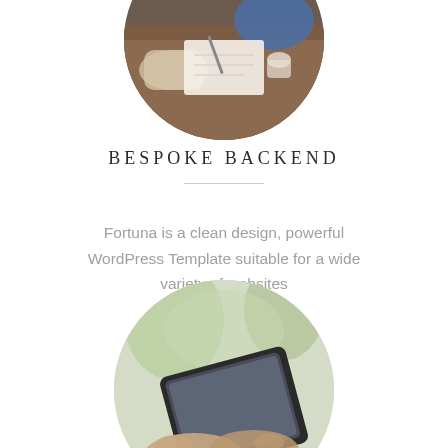[Figure (photo): Circular cropped photo of people sitting at a wooden table, working or writing, viewed from above. Partially visible at the top of the page.]
BESPOKE BACKEND
Fortuna is a clean design, powerful WordPress Template suitable for a wide variety of websites
[Figure (photo): Circular cropped photo of a person's hands holding a tablet device, with a blurred green plant background. Partially visible at the bottom of the page.]